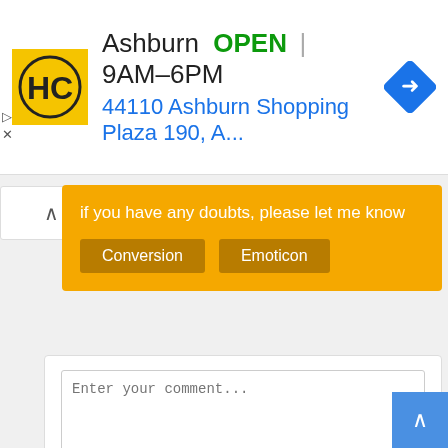[Figure (screenshot): Ad banner showing HC logo, Ashburn OPEN 9AM-6PM, address 44110 Ashburn Shopping Plaza 190, A... with navigation arrow icon]
if you have any doubts, please let me know
Conversion  Emoticon
Enter your comment...
Comment as: Google Accoun
Publish   Preview